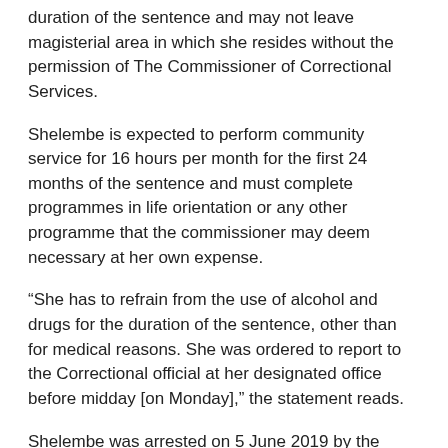duration of the sentence and may not leave magisterial area in which she resides without the permission of The Commissioner of Correctional Services.
Shelembe is expected to perform community service for 16 hours per month for the first 24 months of the sentence and must complete programmes in life orientation or any other programme that the commissioner may deem necessary at her own expense.
“She has to refrain from the use of alcohol and drugs for the duration of the sentence, other than for medical reasons. She was ordered to report to the Correctional official at her designated office before midday [on Monday],” the statement reads.
Shelembe was arrested on 5 June 2019 by the National Traffic Anti-Corruption Unit of the Road Traffic Management Corporation and the Hawks. Her arrested followed that of six officials and nine learner licence applicants on charges of fraud in March 2018.